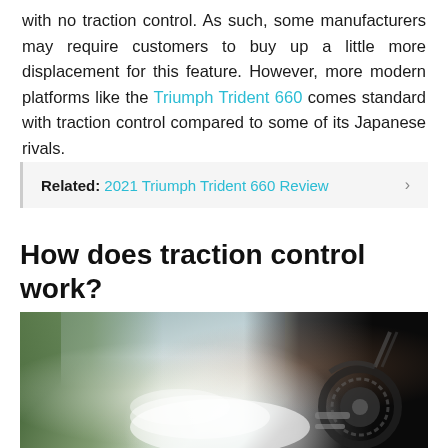with no traction control. As such, some manufacturers may require customers to buy up a little more displacement for this feature. However, more modern platforms like the Triumph Trident 660 comes standard with traction control compared to some of its Japanese rivals.
Related: 2021 Triumph Trident 660 Review ›
How does traction control work?
[Figure (photo): Motorcycle performing a burnout, with thick white smoke rising from the rear wheel. Dark motorcycle on the right side, green vegetation on the left, cloudy sky visible in the background.]